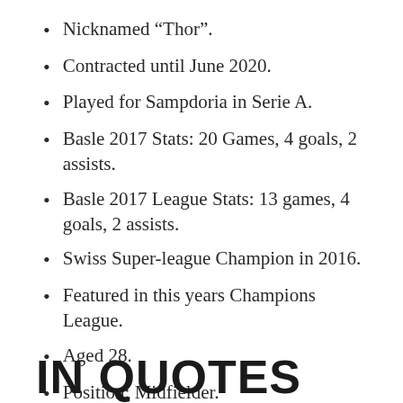Nicknamed “Thor”.
Contracted until June 2020.
Played for Sampdoria in Serie A.
Basle 2017 Stats: 20 Games, 4 goals, 2 assists.
Basle 2017 League Stats: 13 games, 4 goals, 2 assists.
Swiss Super-league Champion in 2016.
Featured in this years Champions League.
Aged 28.
Position: Midfielder.
IN QUOTES